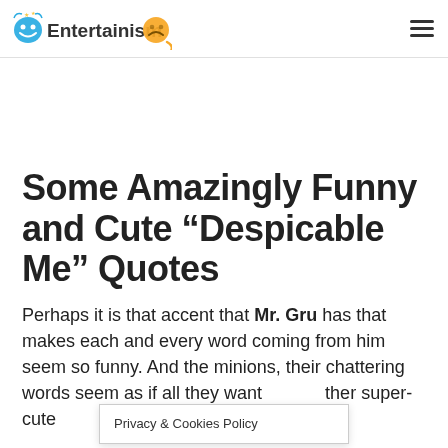Entertainism
Some Amazingly Funny and Cute “Despicable Me” Quotes
Perhaps it is that accent that Mr. Gru has that makes each and every word coming from him seem so funny. And the minions, their chattering words seem as if all they want [Privacy & Cookies Policy] other super-cute